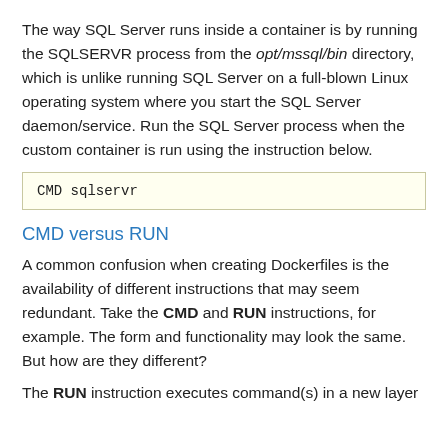The way SQL Server runs inside a container is by running the SQLSERVR process from the opt/mssql/bin directory, which is unlike running SQL Server on a full-blown Linux operating system where you start the SQL Server daemon/service. Run the SQL Server process when the custom container is run using the instruction below.
CMD sqlservr
CMD versus RUN
A common confusion when creating Dockerfiles is the availability of different instructions that may seem redundant. Take the CMD and RUN instructions, for example. The form and functionality may look the same. But how are they different?
The RUN instruction executes command(s) in a new layer